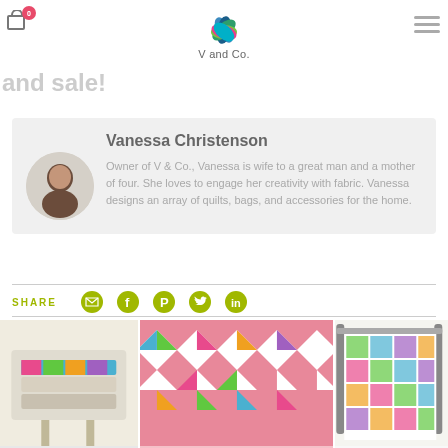V and Co.
Confetti Meta Ombre Fabric and sale!
Vanessa Christenson
Owner of V & Co., Vanessa is wife to a great man and a mother of four. She loves to engage her creativity with fabric. Vanessa designs an array of quilts, bags, and accessories for the home.
SHARE
[Figure (photo): Three quilt photos showing colorful patchwork quilts]
[Figure (photo): Colorful star pattern quilt on pink background]
[Figure (photo): Colorful geometric quilt hanging on rack]